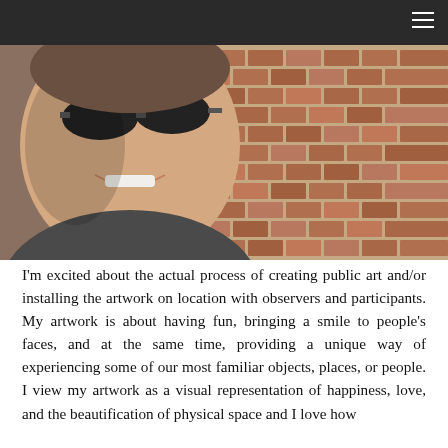[Figure (photo): Selfie photo of a man wearing sunglasses, smiling, outdoors with a brick paved background. Dark header bar overlays the top of the image.]
I'm excited about the actual process of creating public art and/or installing the artwork on location with observers and participants.  My artwork is about having fun, bringing a smile to people's faces, and at the same time, providing a unique way of experiencing some of our most familiar objects, places, or people.  I view my artwork as a visual representation of happiness, love, and the beautification of physical space and I love how Public Art achieves this and so much more.